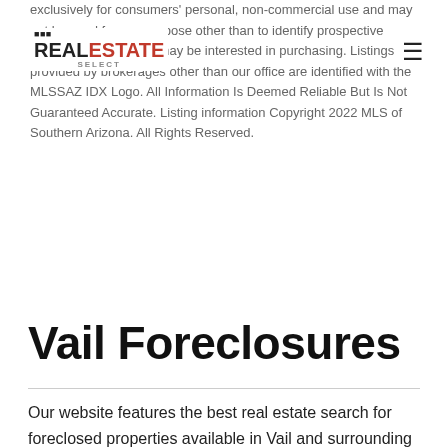REAL ESTATE SELECT
exclusively for consumers' personal, non-commercial use and may not be used for any purpose other than to identify prospective properties consumers may be interested in purchasing. Listings provided by brokerages other than our office are identified with the MLSSAZ IDX Logo. All Information Is Deemed Reliable But Is Not Guaranteed Accurate. Listing information Copyright 2022 MLS of Southern Arizona. All Rights Reserved.
Vail Foreclosures
Our website features the best real estate search for foreclosed properties available in Vail and surrounding areas. It is the only site you will ever need! It is easy-to-use and updated by the official Realtor®'s database every 15 minutes.